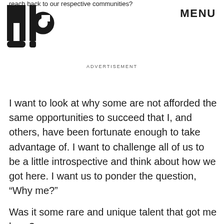reach back to our respective communities?
[Figure (logo): MIC logo in bold block letters]
MENU
ADVERTISEMENT
I want to look at why some are not afforded the same opportunities to succeed that I, and others, have been fortunate enough to take advantage of. I want to challenge all of us to be a little introspective and think about how we got here. I want us to ponder the question, “Why me?”
Was it some rare and unique talent that got me here?